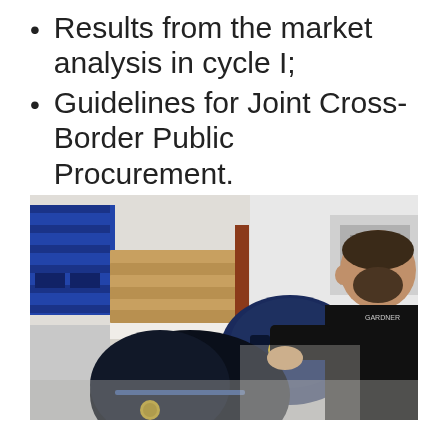Results from the market analysis in cycle I;
Guidelines for Joint Cross-Border Public Procurement.
[Figure (photo): Worker in a black uniform shirt inspecting navy blue body armor/ballistic vests in a warehouse/manufacturing facility, with shelving units holding blue equipment and stacked wooden boards in the background.]